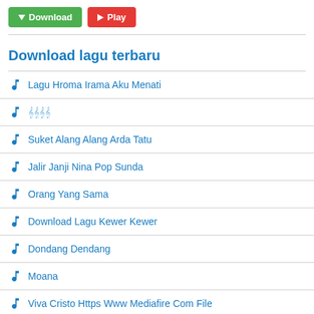[Figure (other): Download and Play buttons at the top]
Download lagu terbaru
Lagu Hroma Irama Aku Menati
𝄞𝄞𝄞𝄞
Suket Alang Alang Arda Tatu
Jalir Janji Nina Pop Sunda
Orang Yang Sama
Download Lagu Kewer Kewer
Dondang Dendang
Moana
Viva Cristo Https Www Mediafire Com File
Bila Nanti Esok Hari Kutemukan Dirimu Bahagia